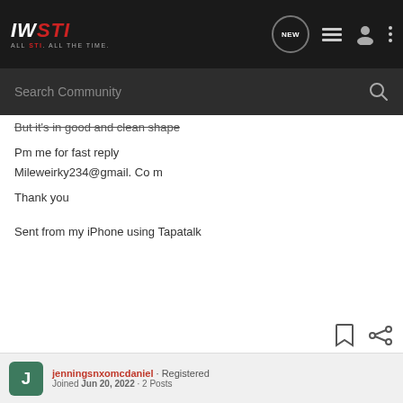IWSTI ALL STI. ALL THE TIME.
But it's in good and clean shape
Pm me for fast reply
Mileweirky234@gmail. Co m

Thank you
Sent from my iPhone using Tapatalk
jenningsnxomcdaniel · Registered
Joined Jun 20, 2022 · 2 Posts